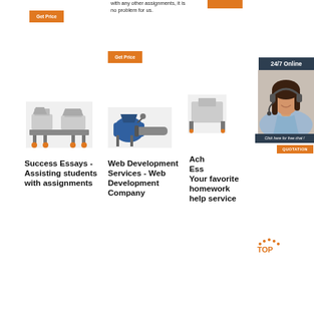with any other assignments, it is no problem for us.
[Figure (other): Orange 'Get Price' button top left]
[Figure (other): Orange 'Get Price' button center]
[Figure (other): 24/7 Online support panel with woman wearing headset]
Click here for free chat !
QUOTATION
[Figure (photo): Industrial machinery photo 1 - seed/grain processing equipment]
[Figure (photo): Industrial machinery photo 2 - blue processing equipment]
Success Essays - Assisting students with assignments
Web Development Services - Web Development Company
Achieve Essays - Your favorite homework help service
[Figure (logo): TOP logo with orange dots]